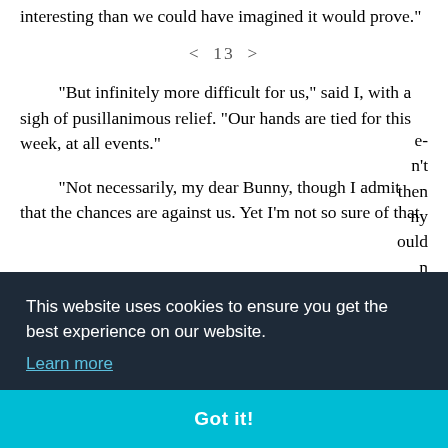interesting than we could have imagined it would prove."
< 13 >
"But infinitely more difficult for us," said I, with a sigh of pusillanimous relief. "Our hands are tied for this week, at all events."
"Not necessarily, my dear Bunny, though I admit that the chances are against us. Yet I'm not so sure of that
both at once! It would be worth a risk, Bunny, to do that; it
This website uses cookies to ensure you get the best experience on our website. Learn more
Got it!